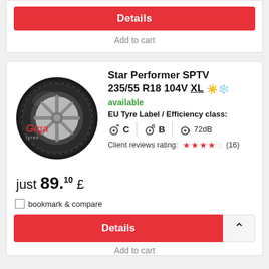Details
Add to cart
[Figure (photo): Star Performer SPTV tyre with alloy wheel, Giga Tyres branding visible]
Star Performer SPTV 235/55 R18 104V XL
available
EU Tyre Label / Efficiency class:
C  B  72dB
Client reviews rating: (16)
just 89.10 £
bookmark & compare
Details
Add to cart